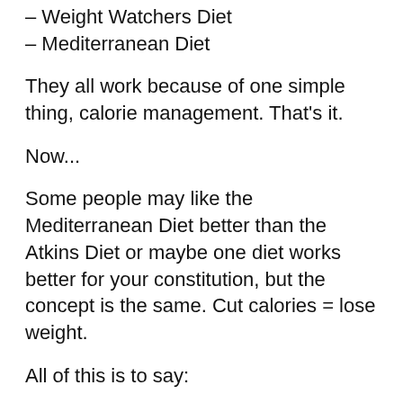– Weight Watchers Diet
– Mediterranean Diet
They all work because of one simple thing, calorie management. That's it.
Now...
Some people may like the Mediterranean Diet better than the Atkins Diet or maybe one diet works better for your constitution, but the concept is the same. Cut calories = lose weight.
All of this is to say:
Simple is hard to see.
Simple is hard to find.
And simple is not believable, which means it doesn't sell well.